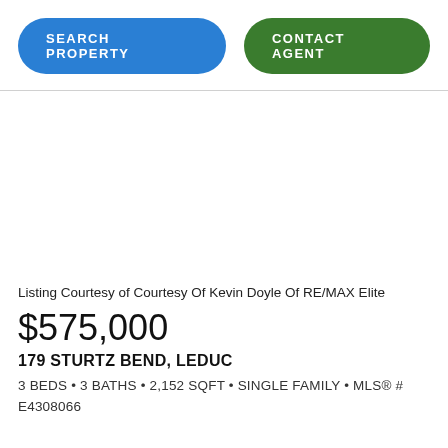[Figure (other): Blue pill-shaped button with white uppercase text: SEARCH PROPERTY]
[Figure (other): Green pill-shaped button with white uppercase text: CONTACT AGENT]
Listing Courtesy of Courtesy Of Kevin Doyle Of RE/MAX Elite
$575,000
179 STURTZ BEND, LEDUC
3 BEDS • 3 BATHS • 2,152 SQFT • SINGLE FAMILY • MLS® # E4308066